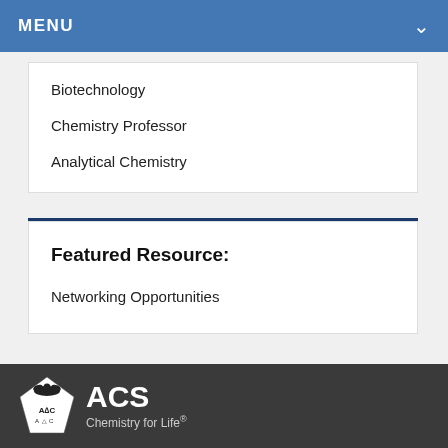MENU
Biotechnology
Chemistry Professor
Analytical Chemistry
Featured Resource:
Networking Opportunities
ACS Chemistry for Life®